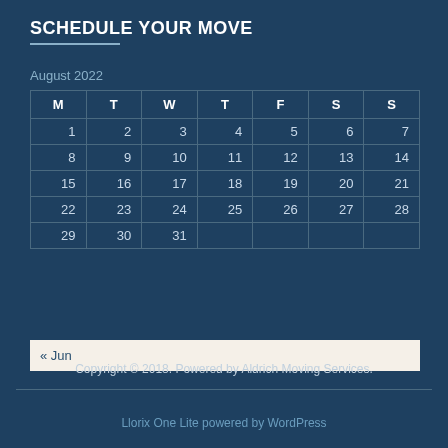SCHEDULE YOUR MOVE
August 2022
| M | T | W | T | F | S | S |
| --- | --- | --- | --- | --- | --- | --- |
| 1 | 2 | 3 | 4 | 5 | 6 | 7 |
| 8 | 9 | 10 | 11 | 12 | 13 | 14 |
| 15 | 16 | 17 | 18 | 19 | 20 | 21 |
| 22 | 23 | 24 | 25 | 26 | 27 | 28 |
| 29 | 30 | 31 |  |  |  |  |
« Jun
Copyright © 2018. Powered by Aldrich Moving Services.
Llorix One Lite powered by WordPress